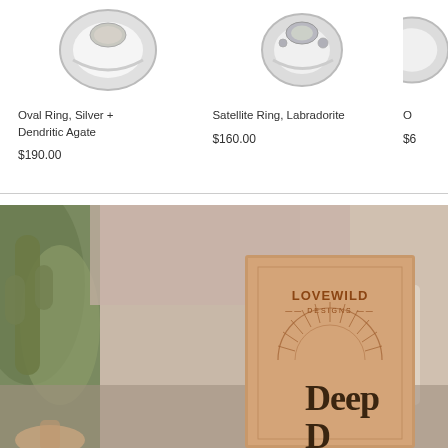[Figure (photo): Oval ring with silver and dendritic agate stone, partial top view on white background]
Oval Ring, Silver + Dendritic Agate
$190.00
[Figure (photo): Satellite ring with labradorite stone, partial top view on white background]
Satellite Ring, Labradorite
$160.00
O
$6
[Figure (photo): Kraft paper box with LOVEWILD branding showing a sun ray design and the word DEEP, photographed outdoors with blurred plant and furniture background]